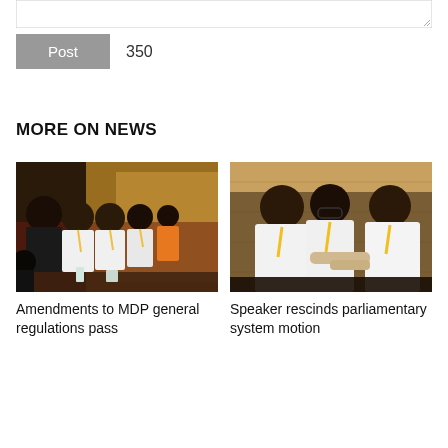[Figure (screenshot): Text input textarea box at the top of the page]
Post   350
MORE ON NEWS
[Figure (photo): Group of men in white shirts seated at a formal event, MDP general regulations meeting]
Amendments to MDP general regulations pass
[Figure (photo): Three men in white shirts with yellow lanyards, one whispering to another, parliamentary event]
Speaker rescinds parliamentary system motion